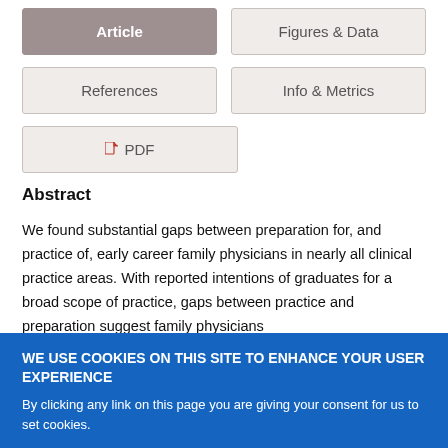[Figure (screenshot): Navigation tab buttons: Article (active/selected, dark background), Figures & Data (inactive), References (inactive), Info & Metrics (inactive), PDF (with PDF icon, inactive)]
Abstract
We found substantial gaps between preparation for, and practice of, early career family physicians in nearly all clinical practice areas. With reported intentions of graduates for a broad scope of practice, gaps between practice and preparation suggest family physicians
WE USE COOKIES ON THIS SITE TO ENHANCE YOUR USER EXPERIENCE
By clicking any link on this page you are giving your consent for us to set cookies.